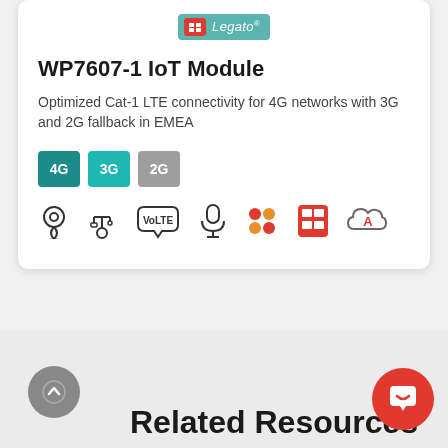[Figure (logo): Legato logo pill with red SIM icon and teal background]
WP7607-1 IoT Module
Optimized Cat-1 LTE connectivity for 4G networks with 3G and 2G fallback in EMEA
[Figure (infographic): Network badges: 4G (dark teal), 3G (medium teal), 2G (gray); and feature icons: GPS, USB, VoLTE, Microphone, App icons, SIM, Cloud-A]
Related Resources